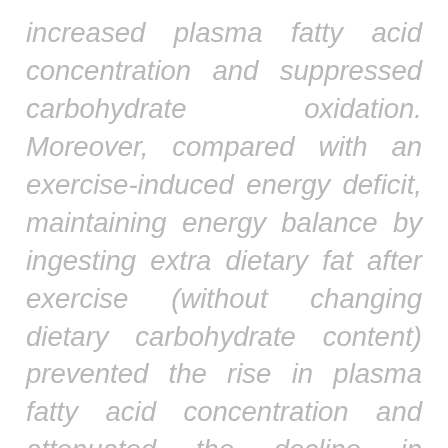increased plasma fatty acid concentration and suppressed carbohydrate oxidation. Moreover, compared with an exercise-induced energy deficit, maintaining energy balance by ingesting extra dietary fat after exercise (without changing dietary carbohydrate content) prevented the rise in plasma fatty acid concentration and attenuated the decline in carbohydrate oxidation the next morning.
Exercise-induced energy deficit